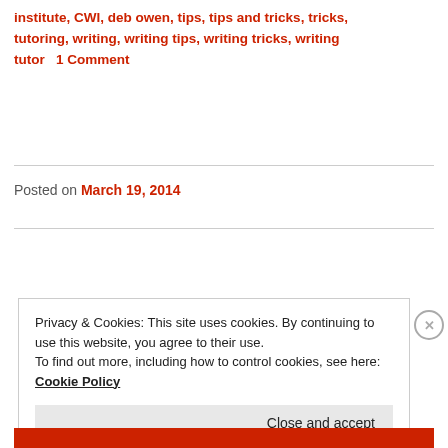institute, CWI, deb owen, tips, tips and tricks, tricks, tutoring, writing, writing tips, writing tricks, writing tutor   1 Comment
Posted on March 19, 2014
Privacy & Cookies: This site uses cookies. By continuing to use this website, you agree to their use.
To find out more, including how to control cookies, see here: Cookie Policy
Close and accept